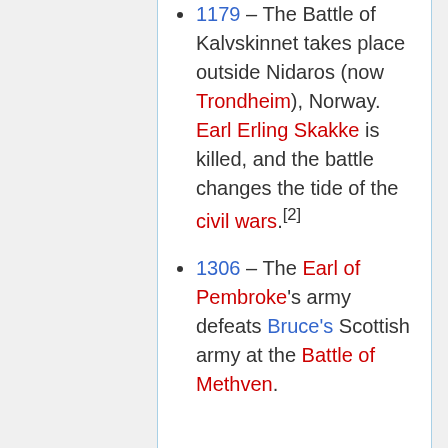1179 – The Battle of Kalvskinnet takes place outside Nidaros (now Trondheim), Norway. Earl Erling Skakke is killed, and the battle changes the tide of the civil wars.[2]
1306 – The Earl of Pembroke's army defeats Bruce's Scottish army at the Battle of Methven.